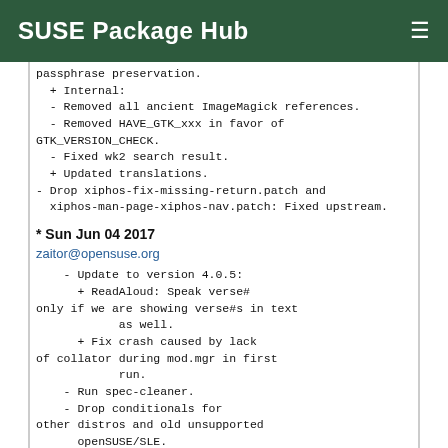SUSE Package Hub
passphrase preservation.
  + Internal:
  - Removed all ancient ImageMagick references.
  - Removed HAVE_GTK_xxx in favor of GTK_VERSION_CHECK.
  - Fixed wk2 search result.
  + Updated translations.
- Drop xiphos-fix-missing-return.patch and
  xiphos-man-page-xiphos-nav.patch: Fixed upstream.
* Sun Jun 04 2017
zaitor@opensuse.org
- Update to version 4.0.5:
      + ReadAloud: Speak verse# only if we are showing verse#s in text
            as well.
      + Fix crash caused by lack of collator during mod.mgr in first
            run.
    - Run spec-cleaner.
    - Drop conditionals for other distros and old unsupported
      openSUSE/SLE.
    - Pkgconfigify BuildRequires, drop obsolete ones.
    - Build for gtk3 only.